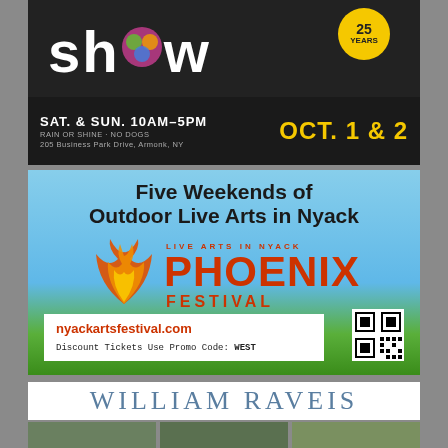[Figure (illustration): Art show advertisement with large 'show' text in white on dark background, colorful brain/art graphic, anniversary badge, date OCT. 1 & 2, SAT. & SUN. 10AM-5PM, RAIN OR SHINE, NO DOGS, 205 Business Park Drive, Armonk, NY]
[Figure (illustration): Phoenix Festival advertisement: 'Five Weekends of Outdoor Live Arts in Nyack' with phoenix bird logo, Live Arts in Nyack Phoenix Festival text in red/orange, nyackartsfestival.com, Discount Tickets Use Promo Code: WEST, QR code, sky and trees background]
[Figure (logo): William Raveis logo in light blue serif text on white background]
[Figure (photo): Three small landscape/property photos at bottom]